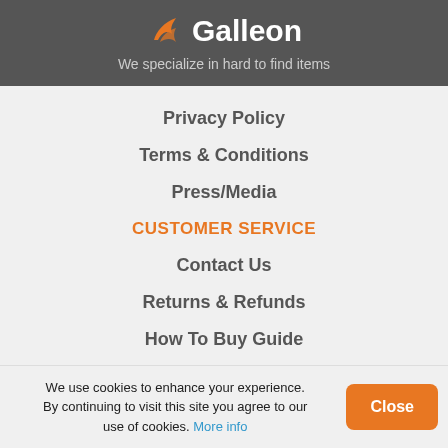[Figure (logo): Galleon logo with orange bird/arrow icon and white text 'Galleon' on dark gray background]
We specialize in hard to find items
Privacy Policy
Terms & Conditions
Press/Media
CUSTOMER SERVICE
Contact Us
Returns & Refunds
How To Buy Guide
Restricted Items
We use cookies to enhance your experience. By continuing to visit this site you agree to our use of cookies. More info